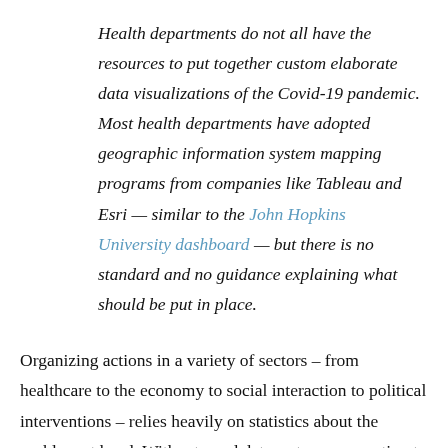Health departments do not all have the resources to put together custom elaborate data visualizations of the Covid-19 pandemic. Most health departments have adopted geographic information system mapping programs from companies like Tableau and Esri — similar to the John Hopkins University dashboard — but there is no standard and no guidance explaining what should be put in place.
Organizing actions in a variety of sectors – from healthcare to the economy to social interaction to political interventions – relies heavily on statistics about the problem at hand. Without good data, actors are reacting to